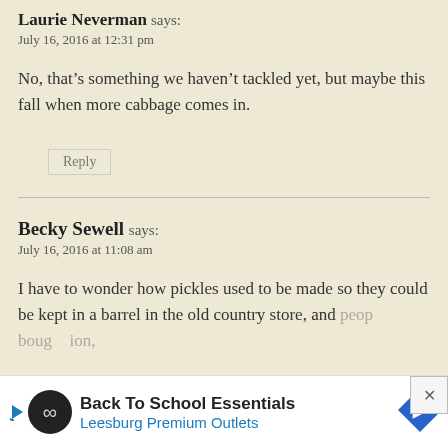Laurie Neverman says:
July 16, 2016 at 12:31 pm
No, that’s something we haven’t tackled yet, but maybe this fall when more cabbage comes in.
Reply
Becky Sewell says:
July 16, 2016 at 11:08 am
I have to wonder how pickles used to be made so they could be kept in a barrel in the old country store, and peop... boug... ion,
[Figure (infographic): Advertisement banner for Back To School Essentials at Leesburg Premium Outlets with logo and navigation arrow icon. An X close button appears at top right.]